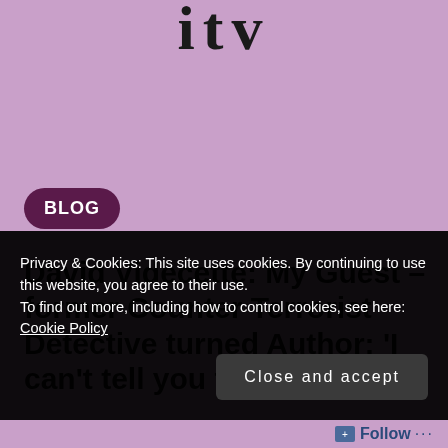[Figure (logo): ITV logo text in large bold serif characters]
BLOG
David Videcette: My Guest – former Counter Terrorist Detective turned Author: 'I can't tell you the truth, but I
Privacy & Cookies: This site uses cookies. By continuing to use this website, you agree to their use.
To find out more, including how to control cookies, see here:
Cookie Policy
Close and accept
Follow